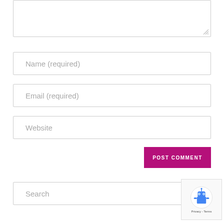[Figure (screenshot): Textarea input box (comment field) with resize handle at bottom-right]
Name (required)
Email (required)
Website
POST COMMENT
Search
[Figure (other): reCAPTCHA widget with robot icon and Privacy/Terms text]